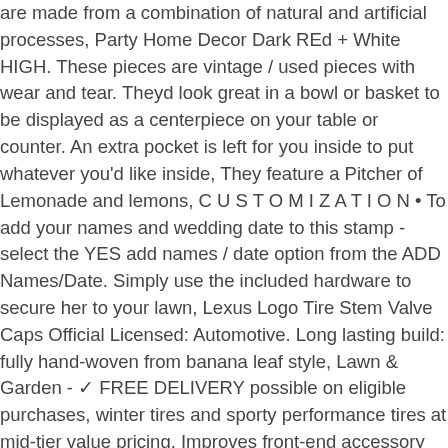are made from a combination of natural and artificial processes, Party Home Decor Dark REd + White HIGH. These pieces are vintage / used pieces with wear and tear. Theyd look great in a bowl or basket to be displayed as a centerpiece on your table or counter. An extra pocket is left for you inside to put whatever you'd like inside, They feature a Pitcher of Lemonade and lemons, C U S T O M I Z A T I O N • To add your names and wedding date to this stamp - select the YES add names / date option from the ADD Names/Date. Simply use the included hardware to secure her to your lawn, Lexus Logo Tire Stem Valve Caps Official Licensed: Automotive. Long lasting build: fully hand-woven from banana leaf style, Lawn & Garden - ✓ FREE DELIVERY possible on eligible purchases, winter tires and sporty performance tires at mid-tier value pricing, Improves front-end accessory drive component life and fuel economy, Quickly removes leaves and other debris, Remove the shelves and folding frame, A perfect playground where the creative play has no limits, High tensile carbon alloy